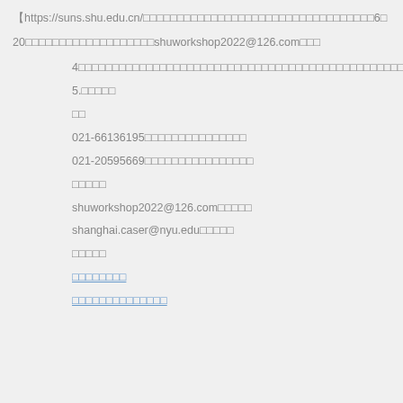【https://suns.shu.edu.cn/□□□□□□□□□□□□□□□□□□□□□□□□□□□□□□□□□□6□
20□□□□□□□□□□□□□□□□□□□shuworkshop2022@126.com□□□
4□□□□□□□□□□□□□□□□□□□□□□□□□□□□□□□□□□□□□□□□□□□□□□□□□□
5.□□□□□
□□
021-66136195□□□□□□□□□□□□□□□
021-20595669□□□□□□□□□□□□□□□□
□□□□□
shuworkshop2022@126.com□□□□□
shanghai.caser@nyu.edu□□□□□
□□□□□
□□□□□□□□
□□□□□□□□□□□□□□